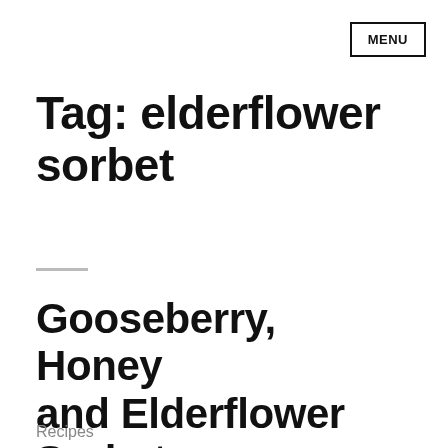MENU
Tag: elderflower sorbet
Gooseberry, Honey and Elderflower Sorbet
Recipes